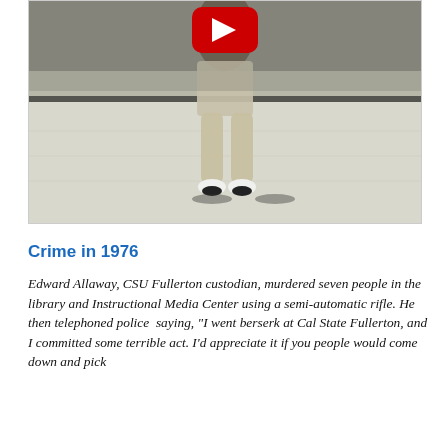[Figure (screenshot): YouTube video thumbnail showing the lower body/legs of an ice skater on a rink, with a red YouTube play button at the top center.]
Crime in 1976
Edward Allaway, CSU Fullerton custodian, murdered seven people in the library and Instructional Media Center using a semi-automatic rifle. He then telephoned police saying, "I went berserk at Cal State Fullerton, and I committed some terrible act. I'd appreciate it if you people would come down and pick